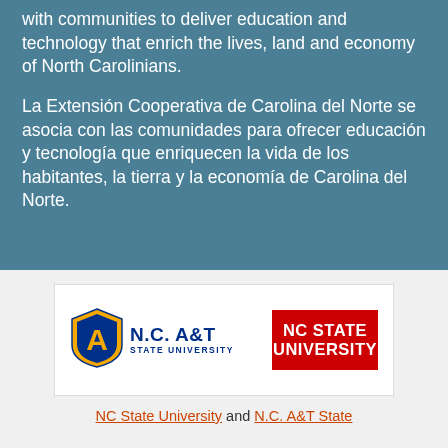North Carolina Cooperative Extension partners with communities to deliver education and technology that enrich the lives, land and economy of North Carolinians.
La Extensión Cooperativa de Carolina del Norte se asocia con las comunidades para ofrecer educación y tecnología que enriquecen la vida de los habitantes, la tierra y la economía de Carolina del Norte.
[Figure (logo): NC A&T State University logo and NC State University logo side by side in a white box]
NC State University and N.C. A&T State